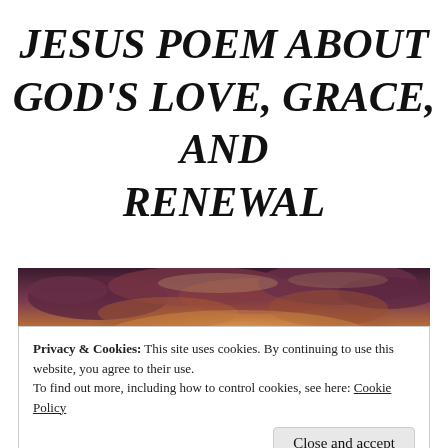JESUS POEM ABOUT GOD'S LOVE, GRACE, AND RENEWAL
[Figure (photo): Dramatic sunset sky with glowing golden and purple clouds over a dark horizon]
Privacy & Cookies: This site uses cookies. By continuing to use this website, you agree to their use.
To find out more, including how to control cookies, see here: Cookie Policy
Close and accept